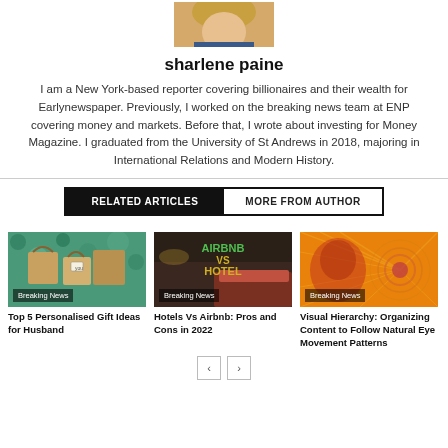[Figure (photo): Headshot of author Sharlene Paine, a woman with long blonde hair]
sharlene paine
I am a New York-based reporter covering billionaires and their wealth for Earlynewspaper. Previously, I worked on the breaking news team at ENP covering money and markets. Before that, I wrote about investing for Money Magazine. I graduated from the University of St Andrews in 2018, majoring in International Relations and Modern History.
RELATED ARTICLES | MORE FROM AUTHOR
[Figure (photo): Colourful gift bags and a wrapped present with a tag on a wooden surface with a patterned background. Breaking News badge visible.]
Top 5 Personalised Gift Ideas for Husband
[Figure (photo): Hotel room with Airbnb vs Hotel text overlay in yellow/green on a dark background. Breaking News badge visible.]
Hotels Vs Airbnb: Pros and Cons in 2022
[Figure (photo): Abstract orange/red graphic with circular eye-like design. Breaking News badge visible.]
Visual Hierarchy: Organizing Content to Follow Natural Eye Movement Patterns